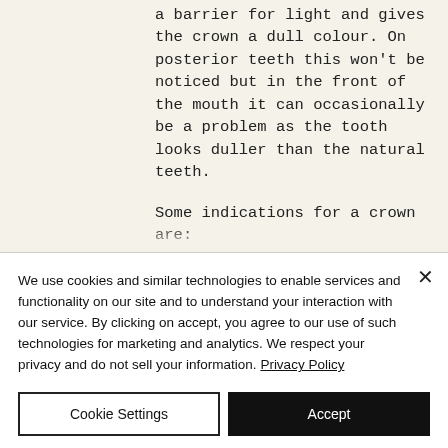a barrier for light and gives the crown a dull colour. On posterior teeth this won't be noticed but in the front of the mouth it can occasionally be a problem as the tooth looks duller than the natural teeth.
Some indications for a crown are:
A previously filled tooth where there now exists more filling than tooth. The existing tooth structure becomes weakened and can no longer support the
We use cookies and similar technologies to enable services and functionality on our site and to understand your interaction with our service. By clicking on accept, you agree to our use of such technologies for marketing and analytics. We respect your privacy and do not sell your information. Privacy Policy